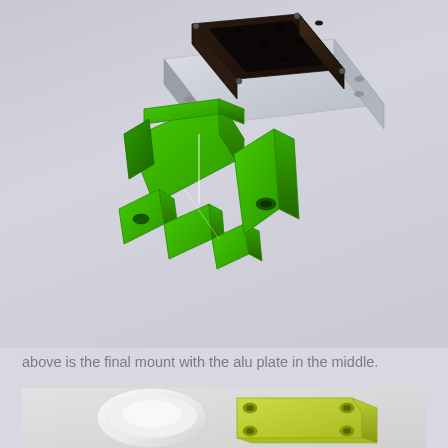[Figure (engineering-diagram): 3D CAD render of a final mount assembly showing a dark brown/black rectangular box with mounting holes on top, a bright green metal bracket with multiple mounting tabs and holes, and a silver/metallic aluminum plate in the middle. The components are shown in an exploded isometric view.]
above is the final mount with the alu plate in the middle.
[Figure (engineering-diagram): 3D render showing white and yellow-green 3D printed or molded parts: a white cylindrical/rounded component and a yellow-green bracket/mount piece with mounting holes, shown against a light gray background.]